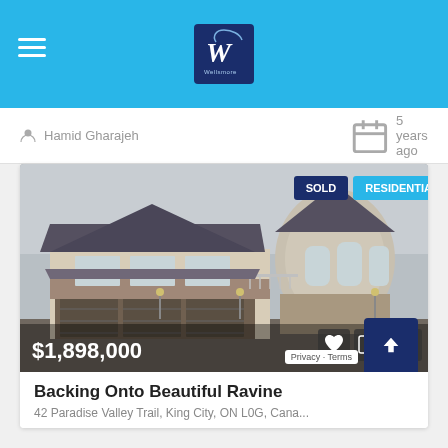Wellsmore Real Estate — navigation header with logo
Hamid Gharajeh   5 years ago
[Figure (photo): Large two-storey luxury residential home with turret, triple garage, stone facade, photographed on an overcast day. Price overlay shows $1,898,000. Badges show SOLD and RESIDENTIAL.]
Backing Onto Beautiful Ravine
42 Paradise Valley Trail, King City, ON L0G, Cana...